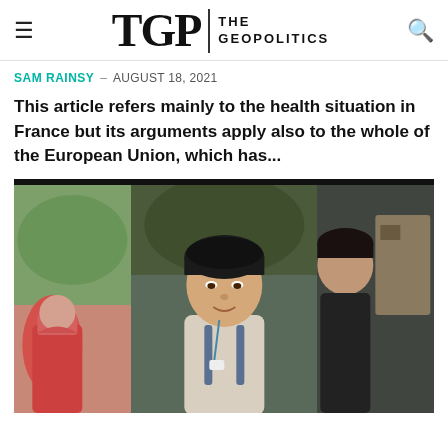TGP | THE GEOPOLITICS
SAM RAINSY – AUGUST 18, 2021
This article refers mainly to the health situation in France but its arguments apply also to the whole of the European Union, which has...
[Figure (photo): Three-panel photo collage: left panel shows a person in colorful traditional attire with green hills background; center panel shows a young Asian man with dark hair wearing a light shirt and backpack with a lanyard; right panel shows a partial view of another person in a dark setting.]